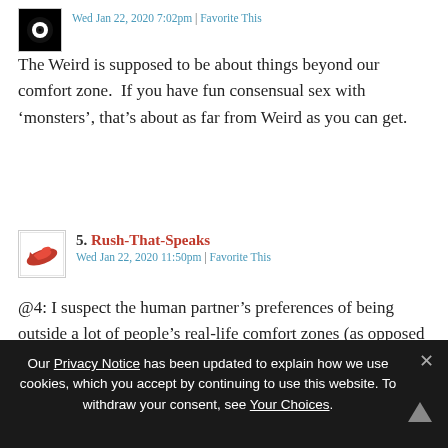Wed Jan 22, 2020 7:02pm | Favorite This
The Weird is supposed to be about things beyond our comfort zone.  If you have fun consensual sex with ‘monsters’, that’s about as far from Weird as you can get.
5. Rush-That-Speaks
Wed Jan 22, 2020 11:50pm | Favorite This
@4: I suspect the human partner’s preferences of being outside a lot of people’s real-life comfort zones (as opposed to viewing-in-porn comfort zones).
Our Privacy Notice has been updated to explain how we use cookies, which you accept by continuing to use this website. To withdraw your consent, see Your Choices.